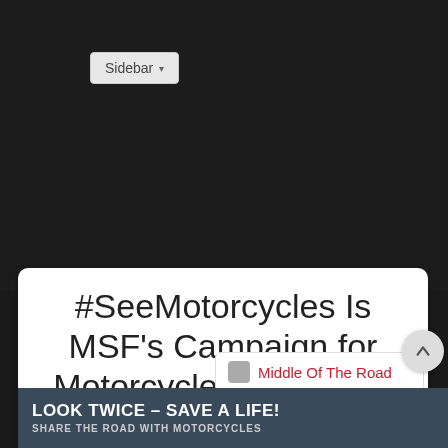[Figure (screenshot): Dark navigation bar area with a Sidebar dropdown button in the upper left]
#SeeMotorcycles Is MSF's Campaign for Motorcycle Awareness Month
Middle Of The Road
[Figure (photo): Dark banner image with bold white text reading 'LOOK TWICE – SAVE A LIFE! SHARE THE ROAD WITH MOTORCYCLES']